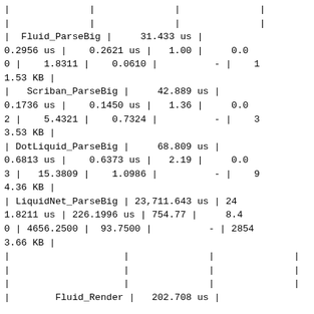| | |  | | |  | | |  | | |
| | |  | | |  | | |  | | |
| | Fluid_ParseBig | | 31.433 us | | 0.2956 us | | 0.2621 us | | 1.00 | | 0.00 | | 1.8311 | | 0.0610 | | - | | 11.53 KB | |
| | Scriban_ParseBig | | 42.889 us | | 0.1736 us | | 0.1450 us | | 1.36 | | 0.02 | | 5.4321 | | 0.7324 | | - | | 33.53 KB | |
| | DotLiquid_ParseBig | | 68.809 us | | 0.6813 us | | 0.6373 us | | 2.19 | | 0.03 | | 15.3809 | | 1.0986 | | - | | 94.36 KB | |
| | LiquidNet_ParseBig | | 23,711.643 us | | 241.8211 us | | 226.1996 us | | 754.77 | | 8.40 | | 4656.2500 | | 93.7500 | | - | | 28543.66 KB | |
| | |  | | |  | | |  | | |
| | |  | | |  | | |  | | |
| | |  | | |  | | |  | | |
| | Fluid_Render | | 202.708 us | |